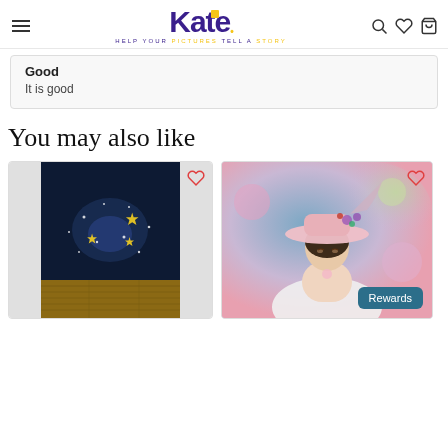Kate - Help Your Pictures Tell A Story
Good
It is good
You may also like
[Figure (photo): Photography backdrop product showing dark blue background with golden stars and sparkles, wooden floor]
[Figure (photo): Woman wearing pink wide-brim hat with floral decorations, white off-shoulder dress, colorful blurred background]